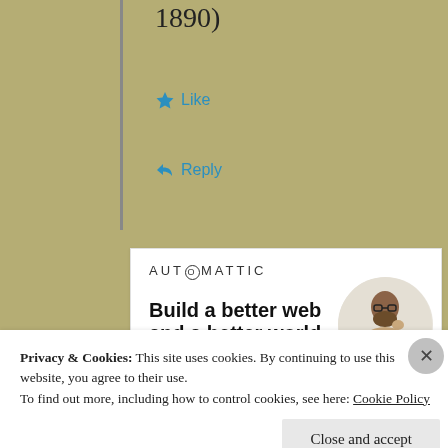1890)
★ Like
↪ Reply
[Figure (infographic): Automattic job advertisement card with logo, tagline 'Build a better web and a better world.', Apply button, and circular photo of a man thinking.]
Privacy & Cookies: This site uses cookies. By continuing to use this website, you agree to their use.
To find out more, including how to control cookies, see here: Cookie Policy
Close and accept